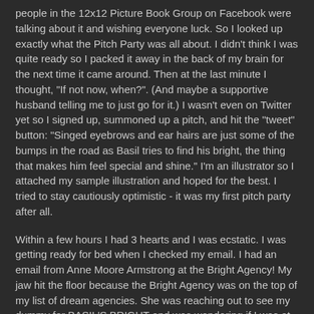people in the 12x12 Picture Book Group on Facebook were talking about it and wishing everyone luck. So I looked up exactly what the Pitch Party was all about. I didn't think I was quite ready so I packed it away in the back of my brain for the next time it came around. Then at the last minute I thought, "If not now, when?". (And maybe a supportive husband telling me to just go for it.) I wasn't even on Twitter yet so I signed up, summoned up a pitch, and hit the "tweet" button: "Singed eyebrows and ear hairs are just some of the bumps in the road as Basil tries to find his bright, the thing that makes him feel special and shine." I'm an illustrator so I attached my sample illustration and hoped for the best. I tried to stay cautiously optimistic - it was my first pitch party after all.
Within a few hours I had 3 hearts and I was ecstatic. I was getting ready for bed when I checked my email. I had an email from Anne Moore Armstrong at the Bright Agency! My jaw hit the floor because the Bright Agency was on the top of my list of dream agencies. She was reaching out to see my dummy for BASIL'S BRIGHT and was wondering if I was at a place in my career that I was interested in representation. With shaking hands I typed